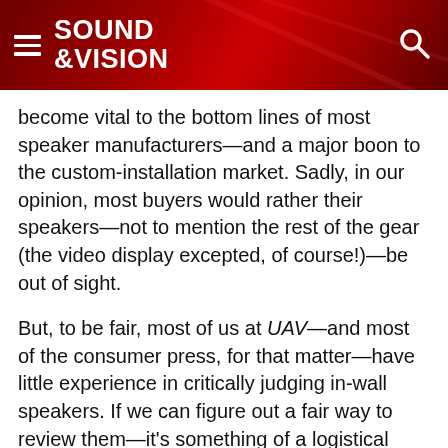SOUND &VISION
become vital to the bottom lines of most speaker manufacturers—and a major boon to the custom-installation market. Sadly, in our opinion, most buyers would rather their speakers—not to mention the rest of the gear (the video display excepted, of course!)—be out of sight.
But, to be fair, most of us at UAV—and most of the consumer press, for that matter—have little experience in critically judging in-wall speakers. If we can figure out a fair way to review them—it's something of a logistical nightmare—we'll try to take a look at the more promising candidates sometime in 2005.